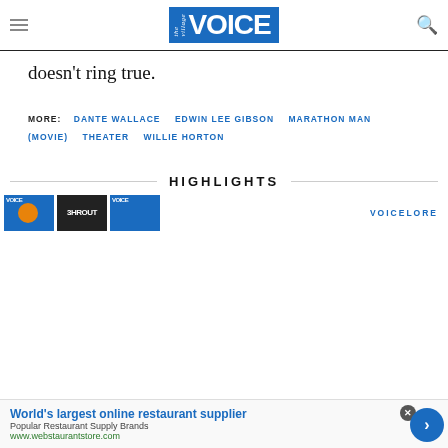the Village VOICE
doesn't ring true.
MORE: DANTE WALLACE   EDWIN LEE GIBSON   MARATHON MAN (MOVIE)   THEATER   WILLIE HORTON
HIGHLIGHTS
[Figure (other): Three thumbnail images for highlights section]
VOICELORE
[Figure (other): Advertisement banner: World's largest online restaurant supplier. Popular Restaurant Supply Brands. www.webstaurantstore.com]